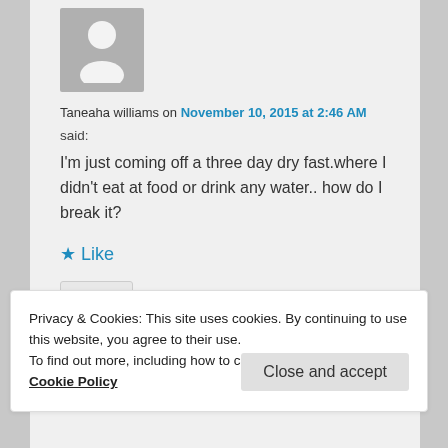[Figure (illustration): Default user avatar: grey square with white silhouette of a person]
Taneaha williams on November 10, 2015 at 2:46 AM said:
I'm just coming off a three day dry fast.where I didn't eat at food or drink any water.. how do I break it?
★ Like
Reply ↓
Privacy & Cookies: This site uses cookies. By continuing to use this website, you agree to their use.
To find out more, including how to control cookies, see here: Cookie Policy
Close and accept